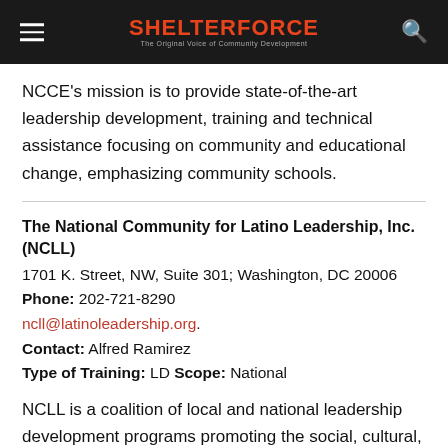SHELTERFORCE — The Original Voice of Community Development
NCCE's mission is to provide state-of-the-art leadership development, training and technical assistance focusing on community and educational change, emphasizing community schools.
The National Community for Latino Leadership, Inc. (NCLL)
1701 K. Street, NW, Suite 301; Washington, DC 20006
Phone: 202-721-8290
ncll@latinoleadership.org.
Contact: Alfred Ramirez
Type of Training: LD Scope: National
NCLL is a coalition of local and national leadership development programs promoting the social, cultural, and economic advancement of the United States and its Latin...